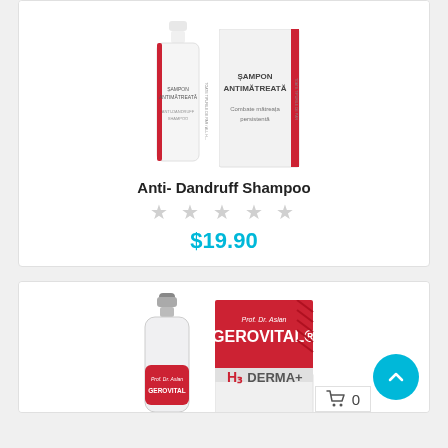[Figure (photo): Anti-Dandruff Shampoo product image showing a white bottle and a white box with red accents and Romanian text SAMPON ANTIMATREATA]
Anti- Dandruff Shampoo
★ ★ ★ ★ ★ (empty stars / no rating)
$19.90
[Figure (photo): Gerovital H3 Derma+ product image showing a clear bottle with red label and a red and white box with GEROVITAL H3 DERMA+ branding]